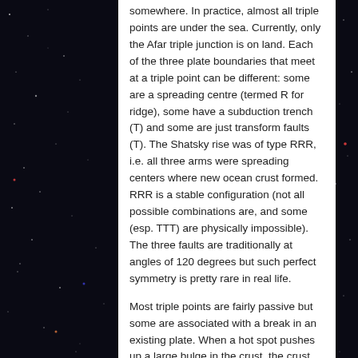somewhere. In practice, almost all triple points are under the sea. Currently, only the Afar triple junction is on land. Each of the three plate boundaries that meet at a triple point can be different: some are a spreading centre (termed R for ridge), some have a subduction trench (T) and some are just transform faults (T). The Shatsky rise was of type RRR, i.e. all three arms were spreading centers where new ocean crust formed. RRR is a stable configuration (not all possible combinations are, and some (esp. TTT) are physically impossible). The three faults are traditionally at angles of 120 degrees but such perfect symmetry is pretty rare in real life.
Most triple points are fairly passive but some are associated with a break in an existing plate. When a hot spot pushes up a large bulge in the crust, the crust can crack in the traditional triple-armed way, at 120 degree angles; the cracks can extend outward and grow into new plate boundaries. Where once there was one plate, now there are three. And by the nature of hot spots, all three arms initially